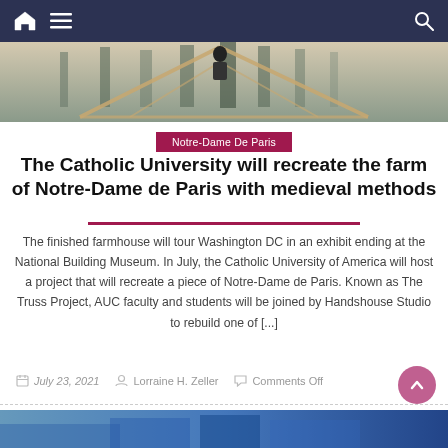Notre-Dame De Paris — navigation bar with home, menu, and search icons
[Figure (photo): Hero image showing Notre-Dame de Paris cathedral with wooden scaffolding/truss structure in foreground, person visible]
Notre-Dame De Paris
The Catholic University will recreate the farm of Notre-Dame de Paris with medieval methods
The finished farmhouse will tour Washington DC in an exhibit ending at the National Building Museum. In July, the Catholic University of America will host a project that will recreate a piece of Notre-Dame de Paris. Known as The Truss Project, AUC faculty and students will be joined by Handshouse Studio to rebuild one of [...]
July 23, 2021   Lorraine H. Zeller   Comments Off
[Figure (photo): Bottom strip showing partial photo, appears to be a building or architectural scene in blue tones]